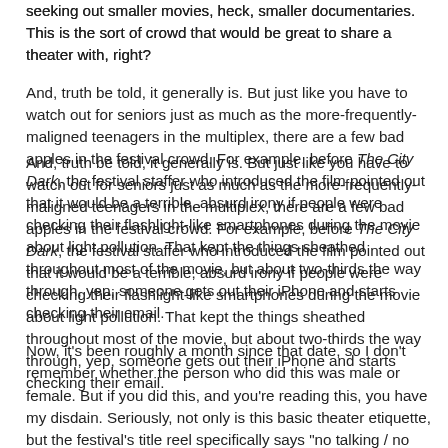seeking out smaller movies, heck, smaller documentaries. This is the sort of crowd that would be great to share a theater with, right?
And, truth be told, it generally is. But just like you have to watch out for seniors just as much as the more-frequently-maligned teenagers in the multiplex, there are a few bad apples in the festival crowd. For example, before The City Dark, the festival staffer who introduced the film pointed out that it would be a terrible, absurd irony if people were checking their flashlight-like smartphones during the movie about light pollution. That kept the things sheathed throughout most of the movie, but about two-thirds the way through, yep, someone gets out their iPhone and starts checking their email.
Now, it's been roughly a month since that date, so I don't remember whether the person who did this was male or female. But if you did this, and you're reading this, you have my disdain. Seriously, not only is this basic theater etiquette, but the festival's title reel specifically says "no talking / no texting / no tweeting", and the audience was told in no